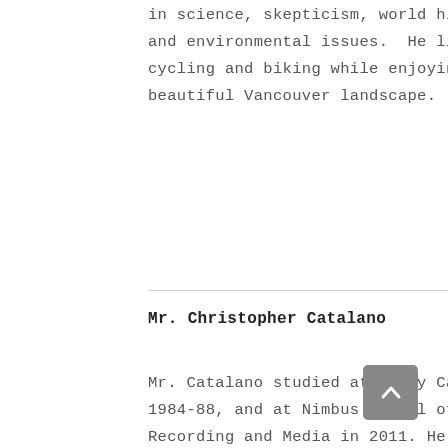in science, skepticism, world history and environmental issues. He likes cycling and biking while enjoying the beautiful Vancouver landscape.
Mr. Christopher Catalano
Mr. Catalano studied at Emily Carr from 1984-88, and at Nimbus School of Recording and Media in 2011. He has a B.F.A. in painting through Emily Carr and Thompson Rivers University and a Diploma in Advanced Music Production from Nimbus. His creative work consists of allegorical/surrealistic painting, drawing, photography/videography, and music